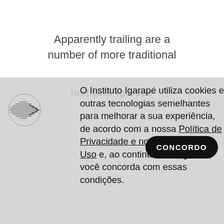Apparently trailing are a number of more traditional
O Instituto Igarapé utiliza cookies e outras tecnologias semelhantes para melhorar a sua experiência, de acordo com a nossa Política de Privacidade e nossos Termos de Uso e, ao continuar navegando, você concorda com essas condições.